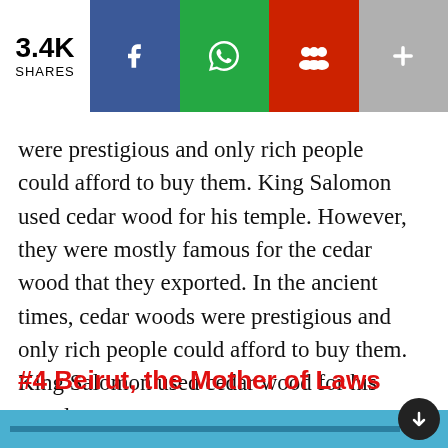[Figure (screenshot): Social share bar with 3.4K shares count, Facebook button (blue), WhatsApp button (green), MySpace/people button (red), and more button (gray)]
were prestigious and only rich people could afford to buy them. King Salomon used cedar wood for his temple. However, they were mostly famous for the cedar wood that they exported. In the ancient times, cedar woods were prestigious and only rich people could afford to buy them. King Salomon used cedar wood for his temple.
#4 Beirut, the Mother of Laws